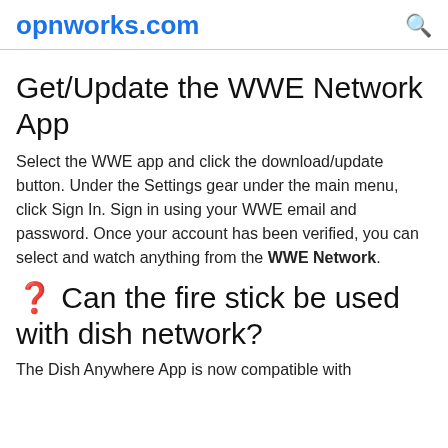opnworks.com
Get/Update the WWE Network App
Select the WWE app and click the download/update button. Under the Settings gear under the main menu, click Sign In. Sign in using your WWE email and password. Once your account has been verified, you can select and watch anything from the WWE Network.
❓ Can the fire stick be used with dish network?
The Dish Anywhere App is now compatible with